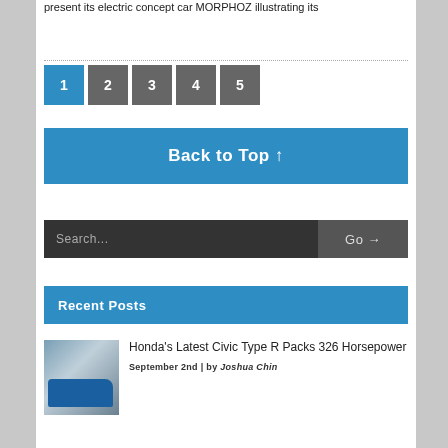present its electric concept car MORPHOZ illustrating its
1
2
3
4
5
Back to Top ↑
Search...
Recent Posts
Honda's Latest Civic Type R Packs 326 Horsepower
September 2nd | by Joshua Chin